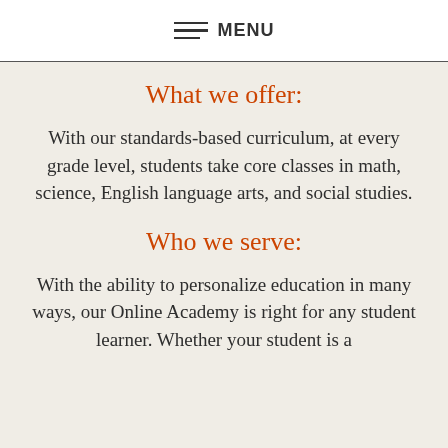MENU
What we offer:
With our standards-based curriculum, at every grade level, students take core classes in math, science, English language arts, and social studies.
Who we serve:
With the ability to personalize education in many ways, our Online Academy is right for any student learner. Whether your student is a